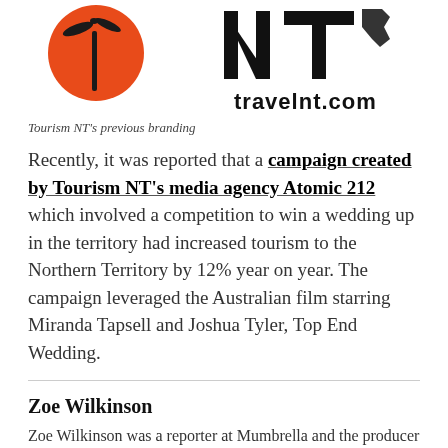[Figure (logo): Tourism NT previous branding logos — orange sun/bird silhouette on left, NT text logo with Australia map outline on right, with 'travelnt.com' text below the NT logo]
Tourism NT's previous branding
Recently, it was reported that a campaign created by Tourism NT's media agency Atomic 212 which involved a competition to win a wedding up in the territory had increased tourism to the Northern Territory by 12% year on year. The campaign leveraged the Australian film starring Miranda Tapsell and Joshua Tyler, Top End Wedding.
Zoe Wilkinson
Zoe Wilkinson was a reporter at Mumbrella and the producer of the Mumbrellacast from March